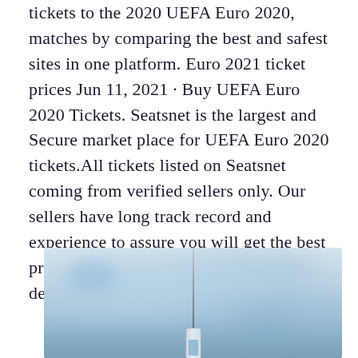tickets to the 2020 UEFA Euro 2020, matches by comparing the best and safest sites in one platform. Euro 2021 ticket prices Jun 11, 2021 · Buy UEFA Euro 2020 Tickets. Seatsnet is the largest and Secure market place for UEFA Euro 2020 tickets.All tickets listed on Seatsnet coming from verified sellers only. Our sellers have long track record and experience to assure you will get the best prices in the market, original tickets, and delivery on time before the event.
[Figure (photo): A close-up photo of a medical syringe with needle pointing downward, against a soft blurred light blue and white background.]